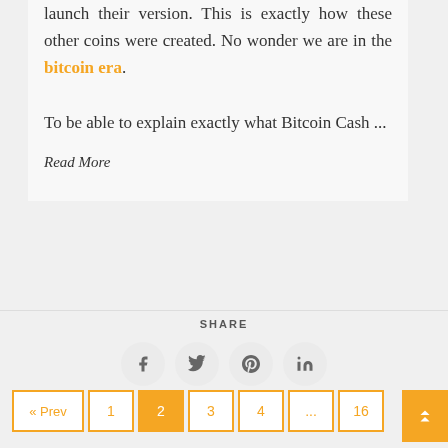launch their version. This is exactly how these other coins were created. No wonder we are in the bitcoin era. To be able to explain exactly what Bitcoin Cash ...
Read More
SHARE
[Figure (infographic): Social share buttons: Facebook, Twitter, Pinterest, LinkedIn — circular grey icons]
« Prev  1  2  3  4  ...  16